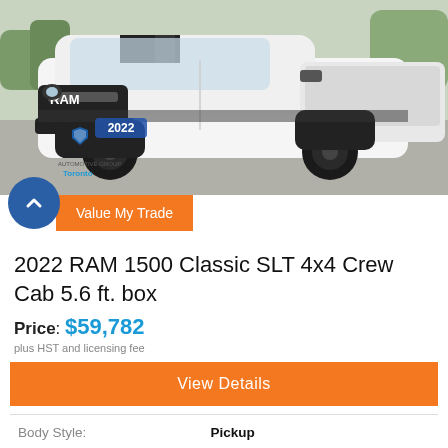[Figure (photo): White 2022 RAM 1500 Classic pickup truck with black accents, RAM grille badge, black wheels, parked in a dealership lot. Serpa Automotive Group Toronto logo and '2022' overlay visible in the lower left.]
Value My Trade
2022 RAM 1500 Classic SLT 4x4 Crew Cab 5.6 ft. box
Price: $59,782
plus HST and licensing fee
View Details
| Body Style: | Pickup |
| Engine: | 5.7L 8Cyl |
| Exterior Colour: | White |